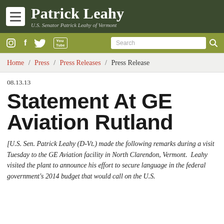Patrick Leahy — U.S. Senator Patrick Leahy of Vermont
Home / Press / Press Releases / Press Release
08.13.13
Statement At GE Aviation Rutland
[U.S. Sen. Patrick Leahy (D-Vt.) made the following remarks during a visit Tuesday to the GE Aviation facility in North Clarendon, Vermont.  Leahy visited the plant to announce his effort to secure language in the federal government's 2014 budget that would call on the U.S.